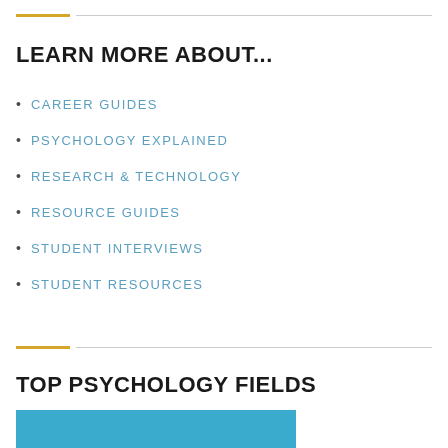LEARN MORE ABOUT...
CAREER GUIDES
PSYCHOLOGY EXPLAINED
RESEARCH & TECHNOLOGY
RESOURCE GUIDES
STUDENT INTERVIEWS
STUDENT RESOURCES
TOP PSYCHOLOGY FIELDS